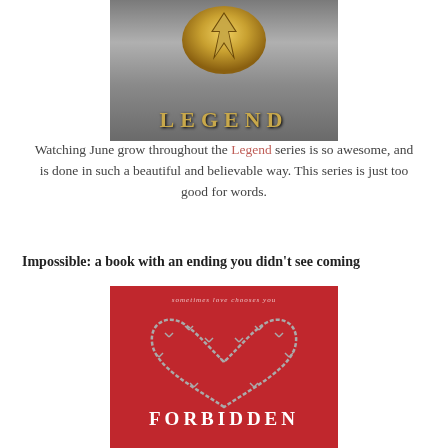[Figure (illustration): Book cover of 'Legend' by Marie Lu — metallic silver/grey background with a golden embossed emblem at top and gold lettering 'LEGEND' in large caps near the bottom]
Watching June grow throughout the Legend series is so awesome, and is done in such a beautiful and believable way. This series is just too good for words.
Impossible: a book with an ending you didn't see coming
[Figure (illustration): Book cover of 'Forbidden' — red background with a barbed wire heart shape and italic tagline 'sometimes love chooses you' at top; 'FORBIDDEN' in white uppercase letters at center-bottom]